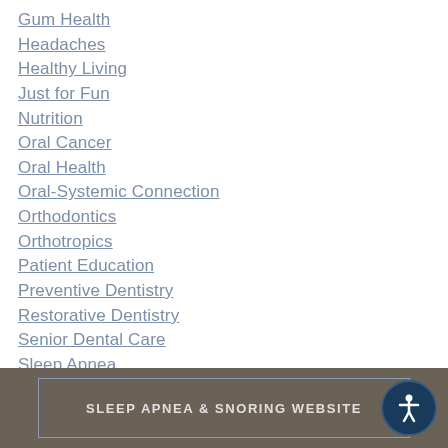Gum Health
Headaches
Healthy Living
Just for Fun
Nutrition
Oral Cancer
Oral Health
Oral-Systemic Connection
Orthodontics
Orthotropics
Patient Education
Preventive Dentistry
Restorative Dentistry
Senior Dental Care
Sleep Apnea
TMJ
Tooth Loss
Uncategorized
SLEEP APNEA & SNORING WEBSITE